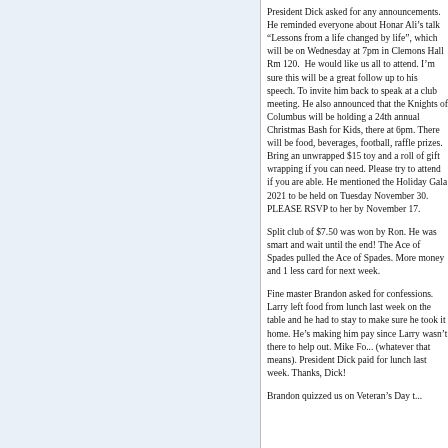President Dick asked for any announcements. He reminded everyone about Honar Ali's talk "Lessons from a life changed by life", which will be on Wednesday at 7pm in Clemons Hall Rm 120. He would like us all to attend. I'm sure this will be a great follow up to his speech. To invite him back to speak at a club meeting. He also announced that the Knights of Columbus will be holding a 24th annual Christmas Bash for Kids, the 14th at 6pm. There will be food, beverages, football, raffle prizes. Bring an unwrapped $15 toy and a roll of gift wrapping if you can need. Please try to attend if you are able. He mentioned the Holiday Gala 2021 to be held on Tuesday November 30. PLEASE RSVP to her by November 17.
Split club of $7.50 was won by Ron. He was smart and wait until the end! The Ace of Spades pulled the Ace of Spades. More money and 1 less card for next week.
Fine master Brandon asked for confessions. Larry left food from lunch last week on the table and he had to stay to make sure he took it home. He's making him pay since Larry wasn't there to help out. Mike Fo... "was working" (whatever that means). President Dick paid for lunch last week. Thanks, Dick!
Brandon quizzed us on Veteran's Day t...